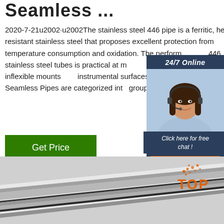Seamless ...
2020-7-21u2002·u2002The stainless steel 446 pipe is a ferritic, heat resistant stainless steel that proposes excellent protection from temperature consumption and oxidation. The performance of 446 stainless steel tubes is practical at maximum speeds by methods for inflexible mounts instrumental surfaces that give positive results. 446 Seamless Pipes are categorized into groups that are ...
[Figure (photo): Customer service representative / chat widget showing a woman with headset, 24/7 Online label, Click here for free chat text, and QUOTATION button]
[Figure (photo): Stainless steel seamless pipes shown close-up, with TOP watermark/logo in orange and grey dots]
Get Price